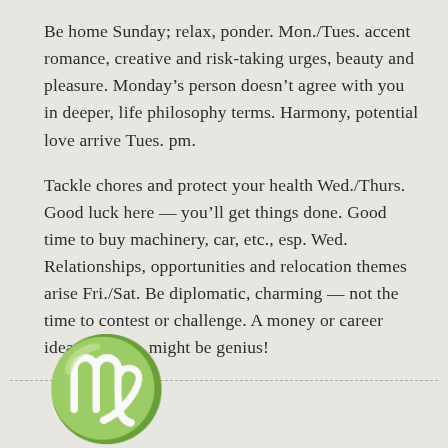Be home Sunday; relax, ponder. Mon./Tues. accent romance, creative and risk-taking urges, beauty and pleasure. Monday's person doesn't agree with you in deeper, life philosophy terms. Harmony, potential love arrive Tues. pm.
Tackle chores and protect your health Wed./Thurs. Good luck here — you'll get things done. Good time to buy machinery, car, etc., esp. Wed. Relationships, opportunities and relocation themes arise Fri./Sat. Be diplomatic, charming — not the time to contest or challenge. A money or career idea, impulse, might be genius!
[Figure (illustration): Virgo zodiac symbol (♍) in large black serif font at the bottom left of the page]